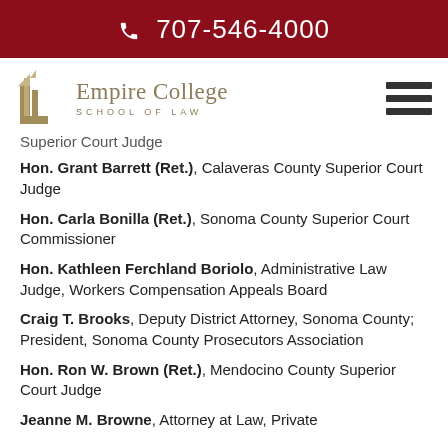☎ 707-546-4000
[Figure (logo): Empire College School of Law logo with building icon]
Superior Court Judge
Hon. Grant Barrett (Ret.), Calaveras County Superior Court Judge
Hon. Carla Bonilla (Ret.), Sonoma County Superior Court Commissioner
Hon. Kathleen Ferchland Boriolo, Administrative Law Judge, Workers Compensation Appeals Board
Craig T. Brooks, Deputy District Attorney, Sonoma County; President, Sonoma County Prosecutors Association
Hon. Ron W. Brown (Ret.), Mendocino County Superior Court Judge
Jeanne M. Browne, Attorney at Law, Private